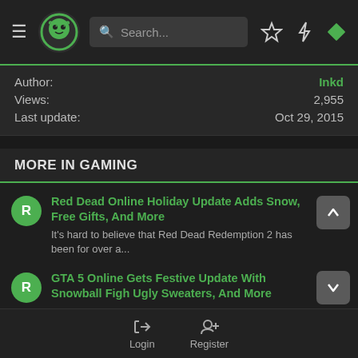Navigation header with logo, search bar, and icons
Author: Inkd
Views: 2,955
Last update: Oct 29, 2015
MORE IN GAMING
Red Dead Online Holiday Update Adds Snow, Free Gifts, And More — It's hard to believe that Red Dead Redemption 2 has been for over a...
GTA 5 Online Gets Festive Update With Snowball Figh Ugly Sweaters, And More
Login  Register